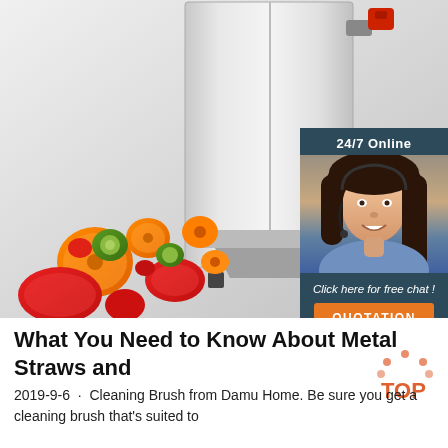[Figure (photo): A commercial vegetable slicing machine with sliced vegetables (carrots, cucumbers, red peppers) spilling out, and a 24/7 online chat widget with a woman wearing a headset on the right side]
What You Need to Know About Metal Straws and
2019-9-6  ·  Cleaning Brush from Damu Home. Be sure you get a cleaning brush that's suited to